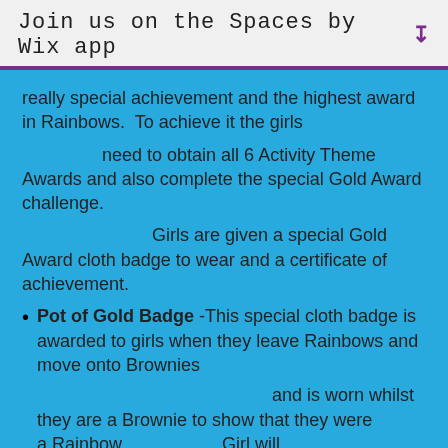Join us on the Spaces by Wix app
really special achievement and the highest award in Rainbows.  To achieve it the girls
      need to obtain all 6 Activity Theme Awards and also complete the special Gold Award challenge.
            Girls are given a special Gold Award cloth badge to wear and a certificate of achievement.
Pot of Gold Badge -This special cloth badge is awarded to girls when they leave Rainbows and move onto Brownies
            and is worn whilst they are a Brownie to show that they were a Rainbow Girl will